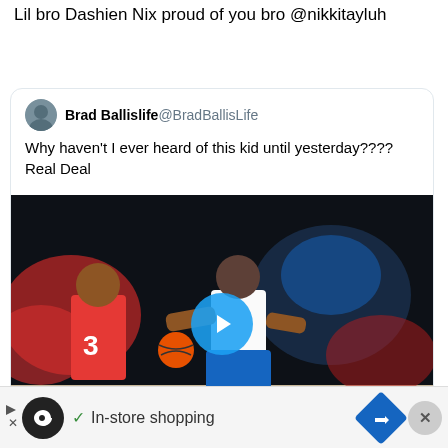Lil bro Dashien Nix proud of you bro @nikkitayluh
[Figure (screenshot): Embedded tweet from Brad Ballislife (@BradBallisLife) with text 'Why haven't I ever heard of this kid until yesterday???? Real Deal' and a basketball video thumbnail showing a player in white jersey dribbling past a defender in red jersey, with a play button overlay]
[Figure (other): Advertisement banner with infinity loop logo, checkmark icon, 'In-store shopping' text, navigation arrow, close button]